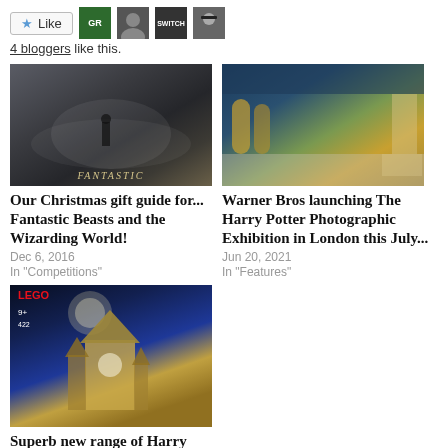[Figure (other): Like button with star icon and 4 blogger avatar thumbnails (GR, face, SWITCH, sunglasses)]
4 bloggers like this.
[Figure (photo): Fantastic Beasts movie poster - dark foggy train station with FANTASTIC text at bottom]
Our Christmas gift guide for... Fantastic Beasts and the Wizarding World!
Dec 6, 2016
In "Competitions"
[Figure (photo): Warner Bros Harry Potter Photographic Exhibition interior - store with barrels and yellow/green decor]
Warner Bros launching The Harry Potter Photographic Exhibition in London this July...
Jun 20, 2021
In "Features"
[Figure (photo): Harry Potter LEGO set box - Hogwarts Clock Tower set, 9+ age, 422 pieces, blue night sky background]
Superb new range of Harry Potter LEGO sets